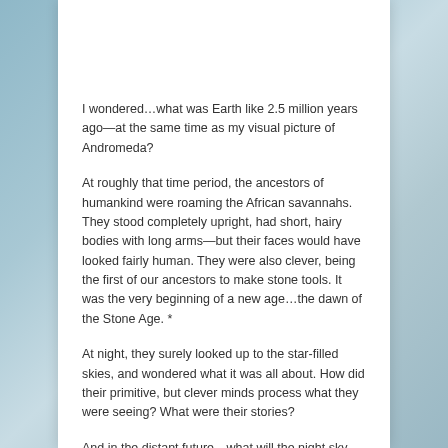I wondered…what was Earth like 2.5 million years ago—at the same time as my visual picture of Andromeda?
At roughly that time period, the ancestors of humankind were roaming the African savannahs. They stood completely upright, had short, hairy bodies with long arms—but their faces would have looked fairly human. They were also clever, being the first of our ancestors to make stone tools. It was the very beginning of a new age…the dawn of the Stone Age. *
At night, they surely looked up to the star-filled skies, and wondered what it was all about. How did their primitive, but clever minds process what they were seeing? What were their stories?
And in the distant future…what will the night sky look like?